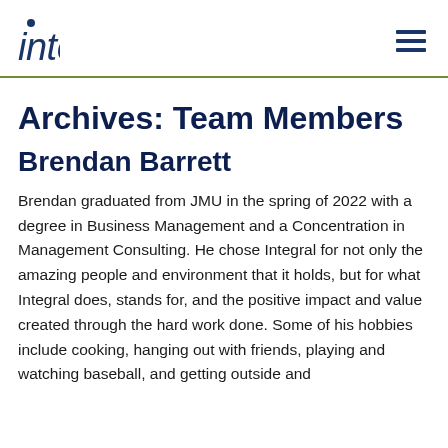integral
Archives: Team Members
Brendan Barrett
Brendan graduated from JMU in the spring of 2022 with a degree in Business Management and a Concentration in Management Consulting. He chose Integral for not only the amazing people and environment that it holds, but for what Integral does, stands for, and the positive impact and value created through the hard work done. Some of his hobbies include cooking, hanging out with friends, playing and watching baseball, and getting outside and